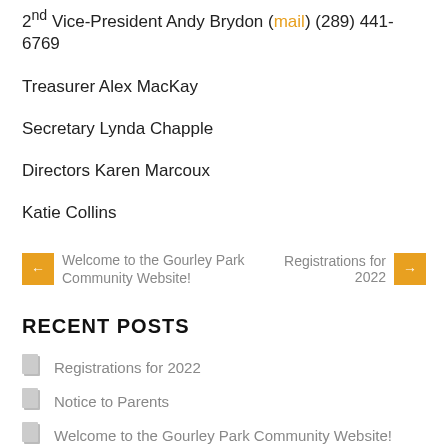2nd Vice-President Andy Brydon (mail) (289) 441-6769
Treasurer Alex MacKay
Secretary Lynda Chapple
Directors Karen Marcoux
Katie Collins
← Welcome to the Gourley Park Community Website!
Registrations for 2022 →
RECENT POSTS
Registrations for 2022
Notice to Parents
Welcome to the Gourley Park Community Website!